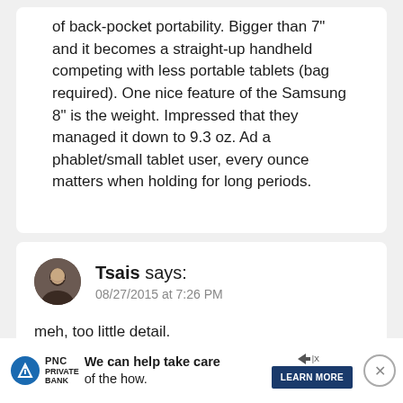of back-pocket portability. Bigger than 7" and it becomes a straight-up handheld competing with less portable tablets (bag required). One nice feature of the Samsung 8" is the weight. Impressed that they managed it down to 9.3 oz. Ad a phablet/small tablet user, every ounce matters when holding for long periods.
Tsais says: 08/27/2015 at 7:26 PM
meh, too little detail.

Except that it'll have Amoled screens with burn-in effect after a year.
[Figure (other): Advertisement banner: PNC Private Bank logo with text 'We can help take care of the how.' and a Learn More button]